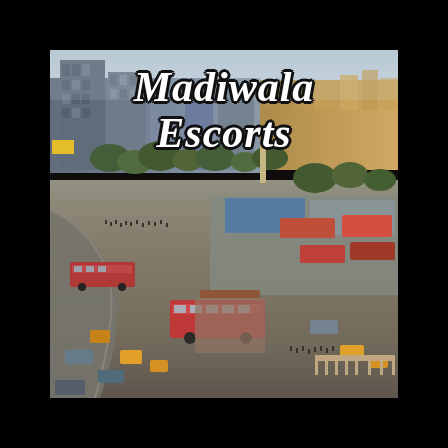[Figure (photo): Aerial view of Madiwala area in Bangalore, India, showing a busy bus terminal/junction with heavy traffic including buses, auto-rickshaws, and crowds of people. City buildings visible in background with a hazy sky.]
Madiwala Escorts